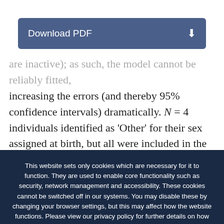[Figure (other): Download PDF button with dark blue background and download arrow icon]
are inactive); as such, the model cannot be reliably fitted, increasing the errors (and thereby 95% confidence intervals) dramatically. N = 4 individuals identified as 'Other' for their sex assigned at birth, but all were included in the autistic sample. Thus, these individuals were excluded from the sex-stratified analyses only.
This website sets only cookies which are necessary for it to function. They are used to enable core functionality such as security, network management and accessibility. These cookies cannot be switched off in our systems. You may disable these by changing your browser settings, but this may affect how the website functions. Please view our privacy policy for further details on how we process your information. Dismiss